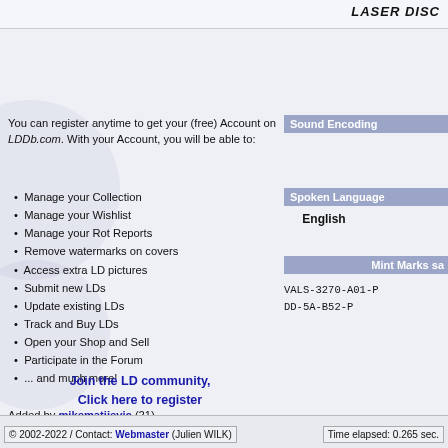LASER DISC
You can register anytime to get your (free) Account on LDDb.com. With your Account, you will be able to:
Manage your Collection
Manage your Wishlist
Manage your Rot Reports
Remove watermarks on covers
Access extra LD pictures
Submit new LDs
Update existing LDs
Track and Buy LDs
Open your Shop and Sell
Participate in the Forum
... and much more!
Join the LD community, Click here to register
Added by mikematijevic (21)
Cover by laserdisc_fan (446)
Added on: 16/05/2003
Latest update: 17/10/2020
User updates processed: 4
Sound Encoding
Spoken Language
English
Mint Marks sa
VALS-3270-A01-P
DD-5A-B52-P
© 2002-2022 / Contact: Webmaster (Julien WILK)
Time elapsed: 0.265 sec.